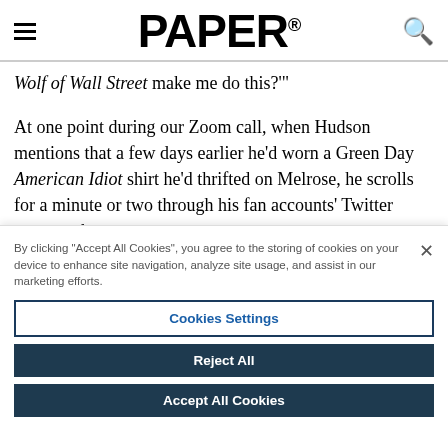PAPER®
Wolf of Wall Street make me do this?"'
At one point during our Zoom call, when Hudson mentions that a few days earlier he'd worn a Green Day American Idiot shirt he'd thrifted on Melrose, he scrolls for a minute or two through his fan accounts' Twitter posts to show me
By clicking "Accept All Cookies", you agree to the storing of cookies on your device to enhance site navigation, analyze site usage, and assist in our marketing efforts.
Cookies Settings
Reject All
Accept All Cookies